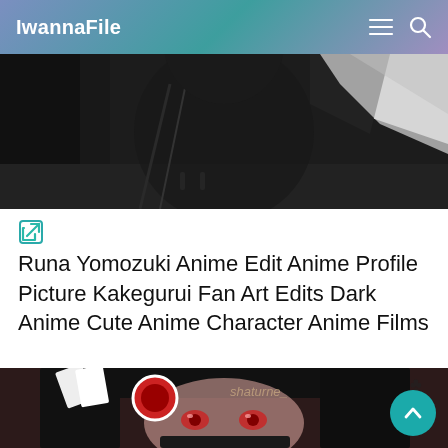IwannaFile
[Figure (illustration): Dark anime character illustration - upper body, dark background]
[Figure (logo): External link / edit icon in teal color]
Runa Yomozuki Anime Edit Anime Profile Picture Kakegurui Fan Art Edits Dark Anime Cute Anime Character Anime Films
[Figure (illustration): Anime character (Runa Yomozuki from Kakegurui) holding a casino chip, dark hair, red eyes, watermark 'shaturne_']